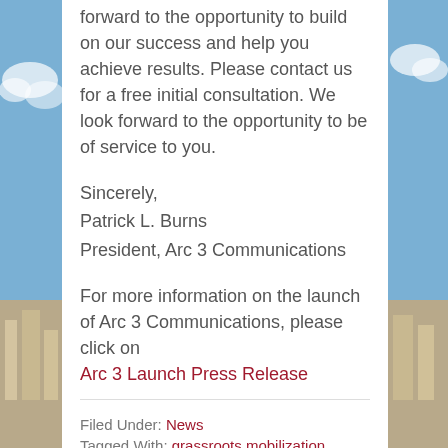forward to the opportunity to build on our success and help you achieve results. Please contact us for a free initial consultation. We look forward to the opportunity to be of service to you.
Sincerely,
Patrick L. Burns
President, Arc 3 Communications
For more information on the launch of Arc 3 Communications, please click on Arc 3 Launch Press Release
Filed Under: News
Tagged With: grassroots mobilization, interactive